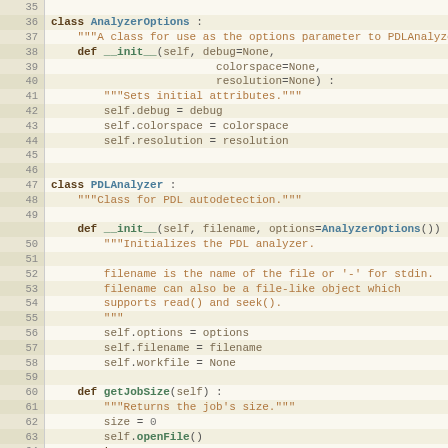[Figure (screenshot): Python source code listing showing class AnalyzerOptions and class PDLAnalyzer definitions with line numbers 35-64, displayed in a code editor style with syntax highlighting on a light beige background.]